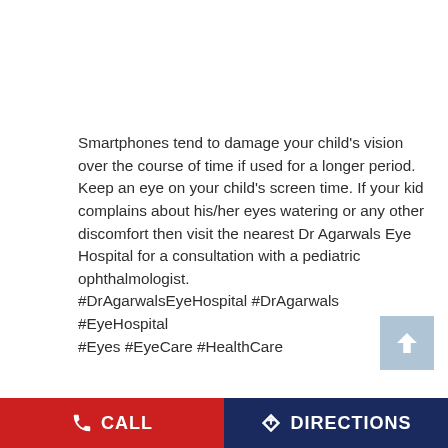Smartphones tend to damage your child's vision over the course of time if used for a longer period. Keep an eye on your child's screen time. If your kid complains about his/her eyes watering or any other discomfort then visit the nearest Dr Agarwals Eye Hospital for a consultation with a pediatric ophthalmologist.
#DrAgarwalsEyeHospital #DrAgarwals #EyeHospital #Eyes #EyeCare #HealthCare
#DrAgarwalsEyeHospital
#DrAgarwals
#EyeHospital
#Eyes
CALL   DIRECTIONS